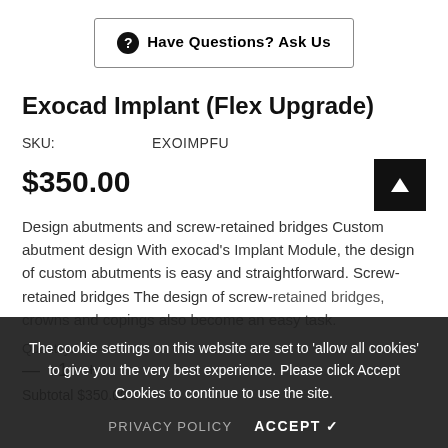Have Questions? Ask Us
Exocad Implant (Flex Upgrade)
SKU: EXOIMPFU
$350.00
Design abutments and screw-retained bridges Custom abutment design With exocad's Implant Module, the design of custom abutments is easy and straightforward. Screw-retained bridges The design of screw-retained bridges, crowns and copings also become an easy task.
Quantity:
— 1 +
Subtotal $350.00
The cookie settings on this website are set to 'allow all cookies' to give you the very best experience. Please click Accept Cookies to continue to use the site.
PRIVACY POLICY   ACCEPT ✓